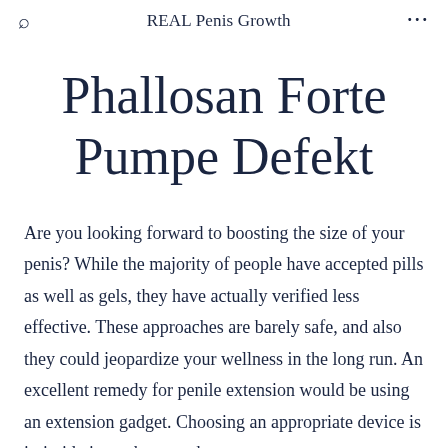REAL Penis Growth
Phallosan Forte Pumpe Defekt
Are you looking forward to boosting the size of your penis? While the majority of people have accepted pills as well as gels, they have actually verified less effective. These approaches are barely safe, and also they could jeopardize your wellness in the long run. An excellent remedy for penile extension would be using an extension gadget. Choosing an appropriate device is intimidating at best, as the